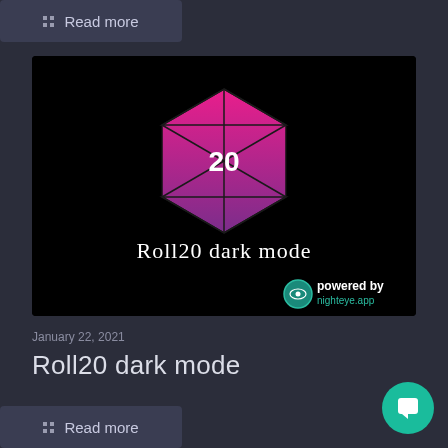Read more
[Figure (screenshot): Roll20 dark mode promotional image — black background with pink/purple gradient 20-sided die (d20) logo showing the number 20, text 'Roll20 dark mode' in white serif font, and 'powered by nighteye.app' branding in the bottom right corner with a teal eye icon]
January 22, 2021
Roll20 dark mode
Read more